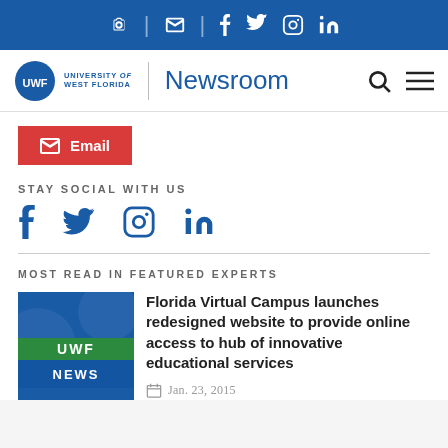University of West Florida Newsroom
[Figure (screenshot): Email button (red background with envelope icon and 'Email' text)]
STAY SOCIAL WITH US
[Figure (infographic): Social media icons: Facebook, Twitter, Instagram, LinkedIn in dark blue]
MOST READ IN FEATURED EXPERTS
[Figure (logo): UWF News logo thumbnail - blue background with UWF NEWS text]
Florida Virtual Campus launches redesigned website to provide online access to hub of innovative educational services
Jan. 23, 2015